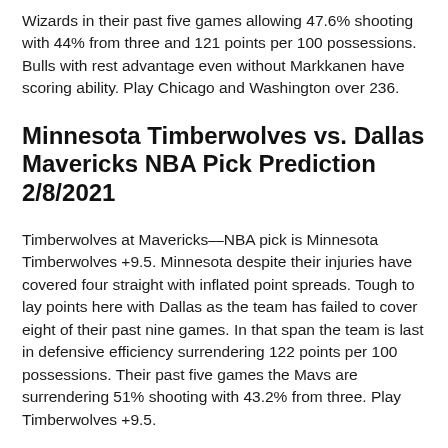Wizards in their past five games allowing 47.6% shooting with 44% from three and 121 points per 100 possessions. Bulls with rest advantage even without Markkanen have scoring ability. Play Chicago and Washington over 236.
Minnesota Timberwolves vs. Dallas Mavericks NBA Pick Prediction 2/8/2021
Timberwolves at Mavericks—NBA pick is Minnesota Timberwolves +9.5. Minnesota despite their injuries have covered four straight with inflated point spreads. Tough to lay points here with Dallas as the team has failed to cover eight of their past nine games. In that span the team is last in defensive efficiency surrendering 122 points per 100 possessions. Their past five games the Mavs are surrendering 51% shooting with 43.2% from three. Play Timberwolves +9.5.